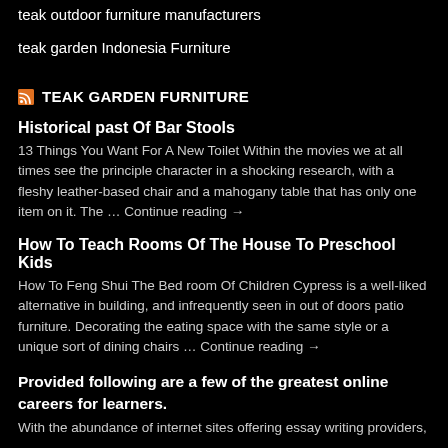teak outdoor furniture manufacturers
teak garden Indonesia Furniture
TEAK GARDEN FURNITURE
Historical past Of Bar Stools
13 Things You Want For A New Toilet Within the movies we at all times see the principle character in a shocking research, with a fleshy leather-based chair and a mahogany table that has only one item on it. The … Continue reading →
How To Teach Rooms Of The House To Preschool Kids
How To Feng Shui The Bed room Of Children Cypress is a well-liked alternative in building, and infrequently seen in out of doors patio furniture. Decorating the eating space with the same style or a unique sort of dining chairs … Continue reading →
Provided following are a few of the greatest online careers for learners.
With the abundance of internet sites offering essay writing providers, the posit…